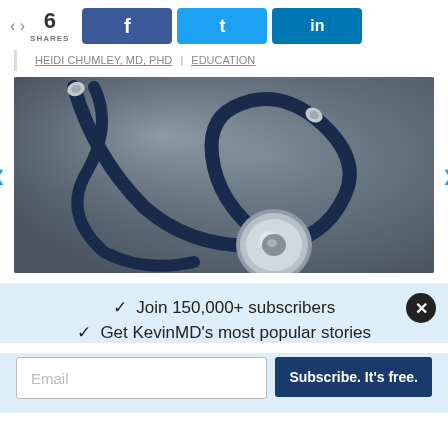6 SHARES | Facebook | Twitter | LinkedIn
HEIDI CHUMLEY, MD, PHD | EDUCATION
[Figure (photo): Close-up photograph of a stethoscope with blue tubing and silver chest piece on a dark gray background]
✓ Join 150,000+ subscribers
✓ Get KevinMD's most popular stories
Email | Subscribe. It's free.